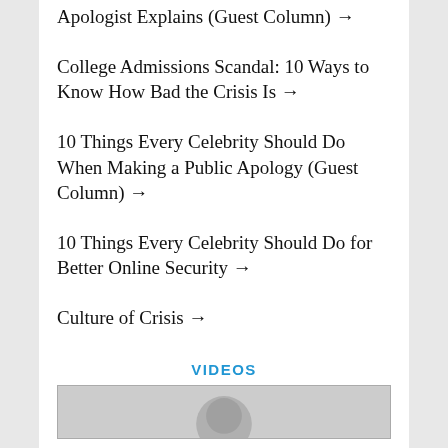Apologist Explains (Guest Column) →
College Admissions Scandal: 10 Ways to Know How Bad the Crisis Is →
10 Things Every Celebrity Should Do When Making a Public Apology (Guest Column) →
10 Things Every Celebrity Should Do for Better Online Security →
Culture of Crisis →
VIDEOS
[Figure (photo): Video thumbnail showing a person, partially visible at bottom of page]